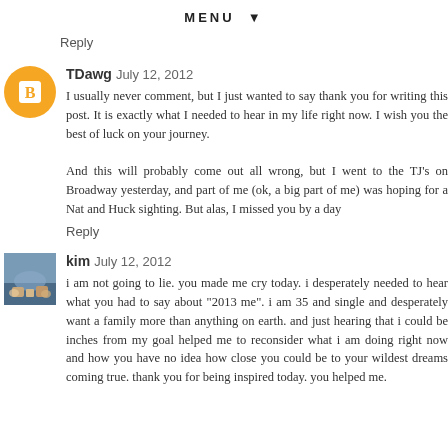MENU ▼
Reply
TDawg  July 12, 2012
I usually never comment, but I just wanted to say thank you for writing this post. It is exactly what I needed to hear in my life right now. I wish you the best of luck on your journey.

And this will probably come out all wrong, but I went to the TJ's on Broadway yesterday, and part of me (ok, a big part of me) was hoping for a Nat and Huck sighting. But alas, I missed you by a day
Reply
kim  July 12, 2012
i am not going to lie. you made me cry today. i desperately needed to hear what you had to say about "2013 me". i am 35 and single and desperately want a family more than anything on earth. and just hearing that i could be inches from my goal helped me to reconsider what i am doing right now and how you have no idea how close you could be to your wildest dreams coming true. thank you for being inspired today. you helped me.